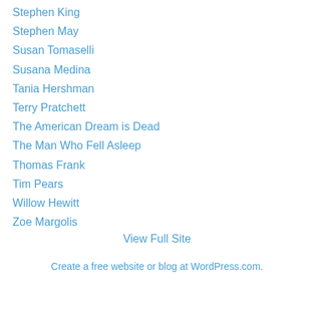Stephen King
Stephen May
Susan Tomaselli
Susana Medina
Tania Hershman
Terry Pratchett
The American Dream is Dead
The Man Who Fell Asleep
Thomas Frank
Tim Pears
Willow Hewitt
Zoe Margolis
View Full Site
Create a free website or blog at WordPress.com.